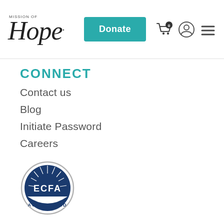MISSION OF Hope. Donate
CONNECT
Contact us
Blog
Initiate Password
Careers
[Figure (logo): ECFA Accredited circular seal/badge logo]
2022 Mission of Hope Haiti Mission of Hope is a registered 501c3 non profit organization.